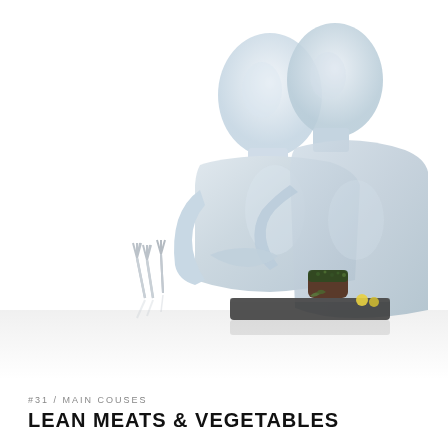[Figure (photo): Two white glossy featureless mannequins embracing each other, standing behind a dark slate plate with a gourmet food dish and yellow garnish. Silverware (forks) visible to the left. White background. Professional studio photography.]
#31 / MAIN COUSES
LEAN MEATS & VEGETABLES